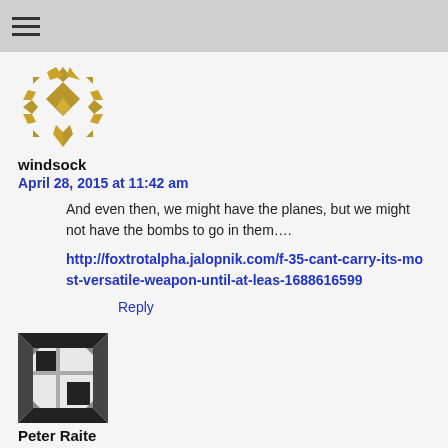☰
[Figure (illustration): Golden decorative avatar icon for user windsock]
windsock
April 28, 2015 at 11:42 am
And even then, we might have the planes, but we might not have the bombs to go in them….
http://foxtrotalpha.jalopnik.com/f-35-cant-carry-its-most-versatile-weapon-until-at-leas-1688616599
Reply
[Figure (illustration): Black and white decorative avatar icon for user Peter Raite]
Peter Raite
April 28, 2015 at 12:25 pm